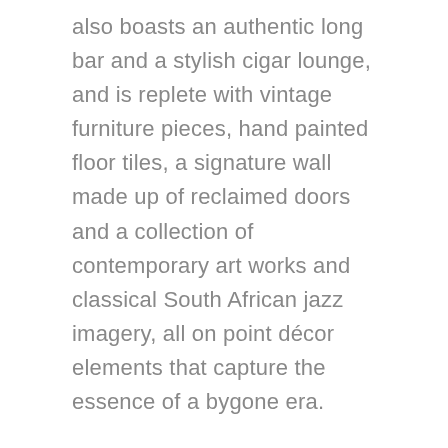also boasts an authentic long bar and a stylish cigar lounge, and is replete with vintage furniture pieces, hand painted floor tiles, a signature wall made up of reclaimed doors and a collection of contemporary art works and classical South African jazz imagery, all on point décor elements that capture the essence of a bygone era.
The Marabi Club pop up hosted by Chef Katlego Mlambo promises a trip to flavourtown paired with the hottest jazz in Jozi. A winning combination and not to be missed.
The Marabi Club is open Thursdays to Saturdays from 6pm to late, and on the last Sunday of every month from Noon until 3pm the sister-